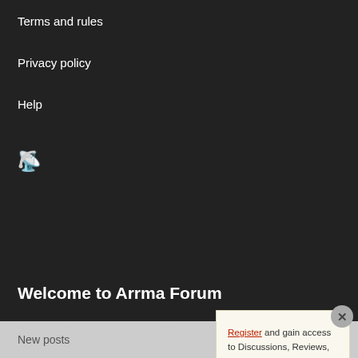Terms and rules
Privacy policy
Help
Welcome to Arrma Forum
Arrma Forum is a Arrma RC fan site that was started to give Arrma RC enthusiasts a place to share with the entire Arrma-R and Arrma Granite.
We welcome all Arrma that share a common
Register and gain access to Discussions, Reviews, Tech Tips, How to Articles, and much more - on the largest Arrma RC community for RC enthusiasts that covers all aspects of the Arrma-RC brand!
Register Today It's free! This box will disappear once registered!
What's new
New posts